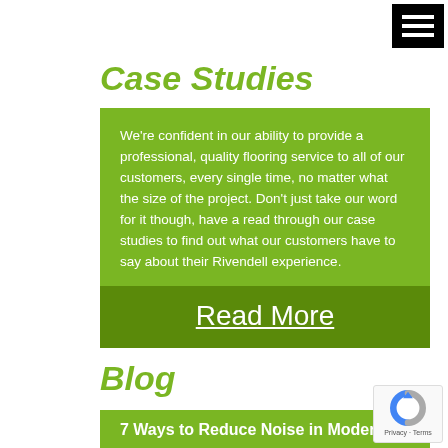[Figure (other): Hamburger menu icon - three white horizontal lines on black background]
Case Studies
We're confident in our ability to provide a professional, quality flooring service to all of our customers, every single time, no matter what the size of the project. Don't just take our word for it though, have a read through our case studies to find out what our customers have to say about their Rivendell experience.
Read More
Blog
7 Ways to Reduce Noise in Modern
[Figure (logo): Google reCAPTCHA badge with Privacy - Terms text]